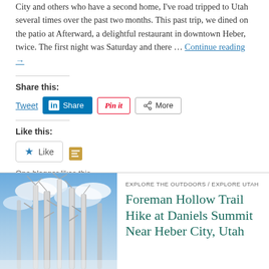City and others who have a second home, I've road tripped to Utah several times over the past two months. This past trip, we dined on the patio at Afterward, a delightful restaurant in downtown Heber, twice. The first night was Saturday and there … Continue reading →
Share this:
[Figure (screenshot): Social sharing buttons: Tweet, LinkedIn Share, Pinterest Pin it, More]
Like this:
[Figure (screenshot): Like button widget with star icon and a blogger avatar icon]
One blogger likes this.
[Figure (photo): Photo of bare aspen trees against a blue sky with clouds]
EXPLORE THE OUTDOORS / EXPLORE UTAH
Foreman Hollow Trail Hike at Daniels Summit Near Heber City, Utah